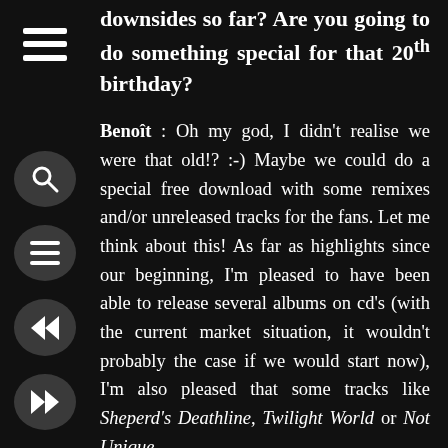downsides so far? Are you going to do something special for that 20th birthday?
Benoît : Oh my god, I didn't realise we were that old!? :-) Maybe we could do a special free download with some remixes and/or unreleased tracks for the fans. Let me think about this! As far as highlights since our beginning, I'm pleased to have been able to release several albums on cd's (with the current market situation, it wouldn't probably the case if we would start now), I'm also pleased that some tracks like Sheperd's Deathline, Twilight World or Not Unique